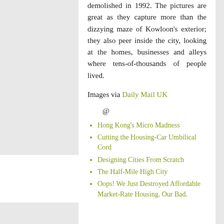demolished in 1992. The pictures are great as they capture more than the dizzying maze of Kowloon's exterior; they also peer inside the city, looking at the homes, businesses and alleys where tens-of-thousands of people lived.
Images via Daily Mail UK
@
Hong Kong's Micro Madness
Cutting the Housing-Car Umbilical Cord
Designing Cities From Scratch
The Half-Mile High City
Oops! We Just Destroyed Affordable Market-Rate Housing. Our Bad.